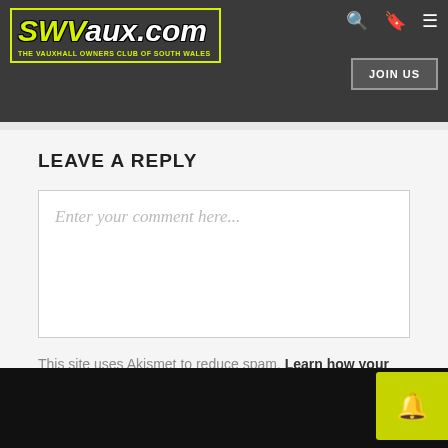SWVaux.com — THE VAUXHALL OWNERS CLUB OF SOUTH WALES | JOIN US
LEAVE A REPLY
Enter your comment here...
This site uses Akismet to reduce spam. Learn how your comment data is processed.